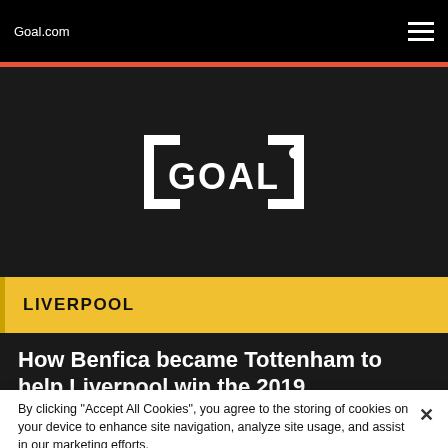Goal.com
[Figure (logo): Goal.com white logo with bracket and dot design on dark background]
LIVERPOOL
How Benfica became Tottenham to help Liverpool win the 2019 Champions League
Neil Jones
By clicking "Accept All Cookies", you agree to the storing of cookies on your device to enhance site navigation, analyze site usage, and assist in our marketing efforts.